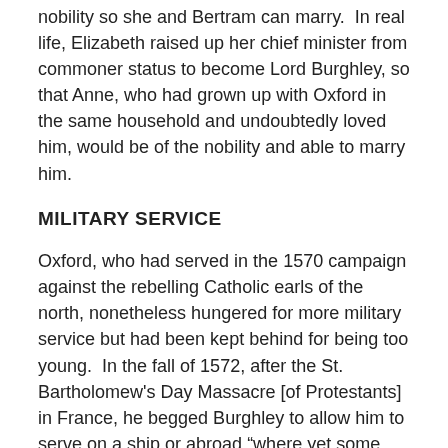nobility so she and Bertram can marry.  In real life, Elizabeth raised up her chief minister from commoner status to become Lord Burghley, so that Anne, who had grown up with Oxford in the same household and undoubtedly loved him, would be of the nobility and able to marry him.
MILITARY SERVICE
Oxford, who had served in the 1570 campaign against the rebelling Catholic earls of the north, nonetheless hungered for more military service but had been kept behind for being too young.  In the fall of 1572, after the St. Bartholomew’s Day Massacre [of Protestants] in France, he begged Burghley to allow him to serve on a ship or abroad “where yet some honor were to be got,” adding he was also “most willing to be employed on the sea coasts,